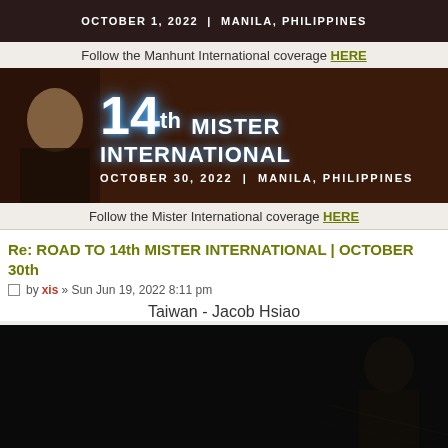[Figure (photo): Top banner showing partial text: OCTOBER 1, 2022 | MANILA, PHILIPPINES on dark background]
Follow the Manhunt International coverage HERE
[Figure (photo): 14th Mister International banner: OCTOBER 30, 2022 | MANILA, PHILIPPINES on dark brown background with man in suit]
Follow the Mister International coverage HERE
Re: ROAD TO 14th MISTER INTERNATIONAL | OCTOBER 30th
by xis » Sun Jun 19, 2022 8:11 pm
Taiwan - Jacob Hsiao
[Figure (photo): Dark photo of a man, mostly black background with faint figure visible on right side]